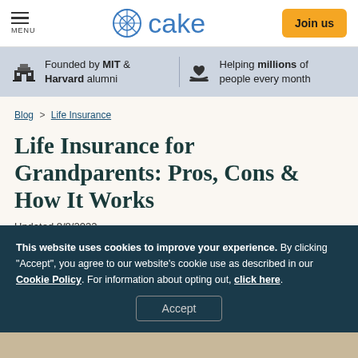MENU | cake | Join us
Founded by MIT & Harvard alumni | Helping millions of people every month
Blog > Life Insurance
Life Insurance for Grandparents: Pros, Cons & How It Works
Updated 8/8/2022
This website uses cookies to improve your experience. By clicking "Accept", you agree to our website's cookie use as described in our Cookie Policy. For information about opting out, click here.
Accept